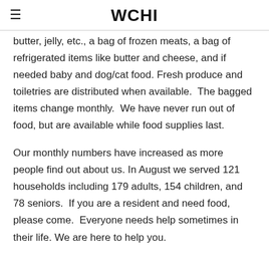WCHI
butter, jelly, etc., a bag of frozen meats, a bag of refrigerated items like butter and cheese, and if needed baby and dog/cat food. Fresh produce and toiletries are distributed when available. The bagged items change monthly. We have never run out of food, but are available while food supplies last.
Our monthly numbers have increased as more people find out about us. In August we served 121 households including 179 adults, 154 children, and 78 seniors. If you are a resident and need food, please come. Everyone needs help sometimes in their life. We are here to help you.